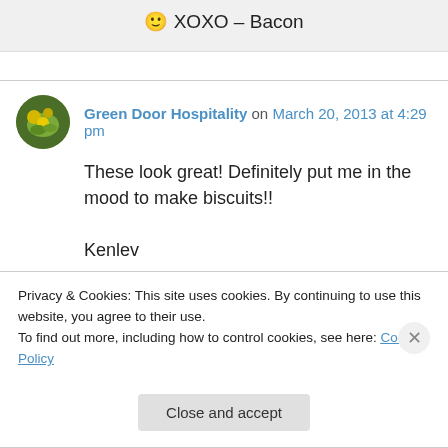🙂 XOXO – Bacon
Green Door Hospitality on March 20, 2013 at 4:29 pm
These look great! Definitely put me in the mood to make biscuits!!
Kenlev
Privacy & Cookies: This site uses cookies. By continuing to use this website, you agree to their use.
To find out more, including how to control cookies, see here: Cookie Policy